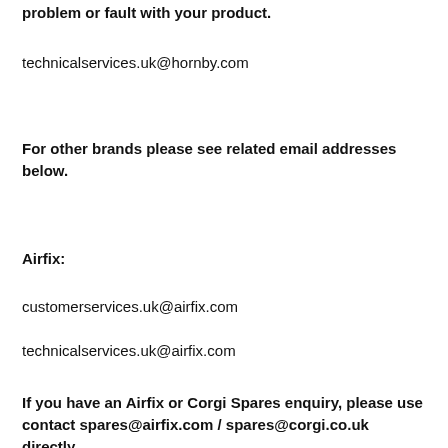problem or fault with your product.
technicalservices.uk@hornby.com
For other brands please see related email addresses below.
Airfix:
customerservices.uk@airfix.com
technicalservices.uk@airfix.com
If you have an Airfix or Corgi Spares enquiry, please use contact spares@airfix.com / spares@corgi.co.uk directly